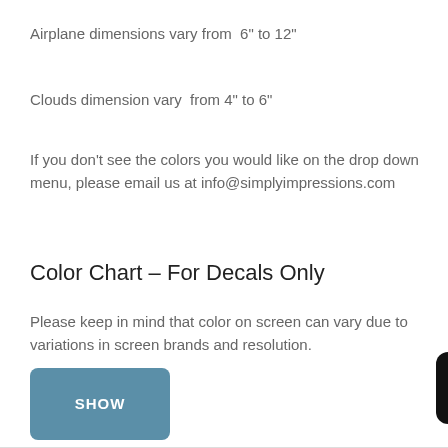Airplane dimensions vary from  6" to 12"
Clouds dimension vary  from 4" to 6"
If you don't see the colors you would like on the drop down menu, please email us at info@simplyimpressions.com
Color Chart – For Decals Only
Please keep in mind that color on screen can vary due to variations in screen brands and resolution.
[Figure (other): A teal/blue rounded rectangle button labeled SHOW in white bold text]
[Figure (other): A dark chat widget popup with text 'Questions? We can help. Chat with us now.' and a blue speech bubble icon]